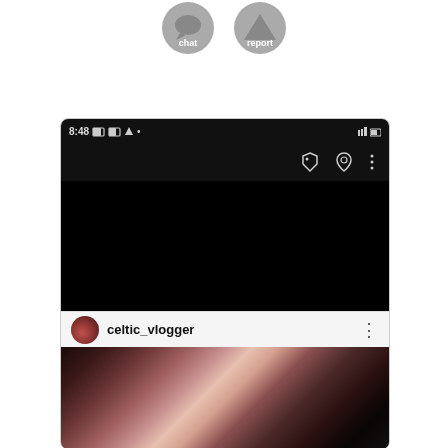[Figure (screenshot): Partial screenshot of a mobile app showing chat and report buttons at the top (grey circular icons), then a dark/black Instagram-like interface with status bar showing 8:48, tag and pin icons, a black video area, username 'celtic_vlogger' with avatar and three-dot menu, and a photo of a dark-haired woman.]